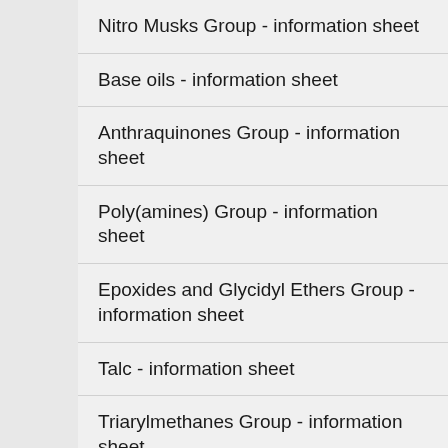Nitro Musks Group - information sheet
Base oils - information sheet
Anthraquinones Group - information sheet
Poly(amines) Group - information sheet
Epoxides and Glycidyl Ethers Group - information sheet
Talc - information sheet
Triarylmethanes Group - information sheet
Ketones Group - information sheet
Pigment and Dyes Group - information sheet
PTPMR - information sheet